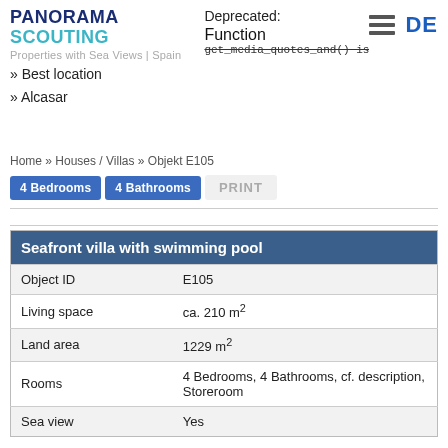PANORAMA SCOUTING Properties with Sea Views | Spain
Deprecated: Function get_media_quotes_and() is...
DE
» Best location
» Alcasar
Home » Houses / Villas » Objekt E105
4 Bedrooms  4 Bathrooms  PRINT
| Seafront villa with swimming pool |  |
| --- | --- |
| Object ID | E105 |
| Living space | ca. 210 m² |
| Land area | 1229 m² |
| Rooms | 4 Bedrooms, 4 Bathrooms, cf. description, Storeroom |
| Sea view | Yes |